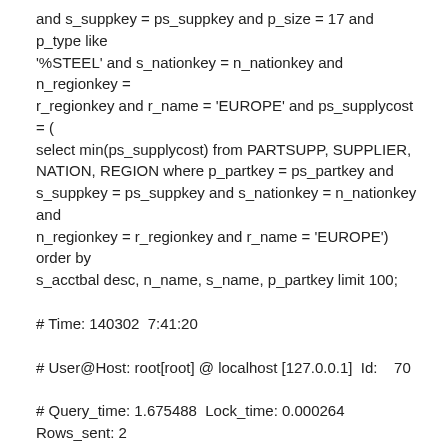and s_suppkey = ps_suppkey and p_size = 17 and p_type like '%STEEL' and s_nationkey = n_nationkey and n_regionkey = r_regionkey and r_name = 'EUROPE' and ps_supplycost = ( select min(ps_supplycost) from PARTSUPP, SUPPLIER, NATION, REGION where p_partkey = ps_partkey and s_suppkey = ps_suppkey and s_nationkey = n_nationkey and n_regionkey = r_regionkey and r_name = 'EUROPE') order by s_acctbal desc, n_name, s_name, p_partkey limit 100;
# Time: 140302  7:41:20
# User@Host: root[root] @ localhost [127.0.0.1]  Id:    70
# Query_time: 1.675488  Lock_time: 0.000264 Rows_sent: 2 Rows_examined: 1786223
SET timestamp=1393713680;